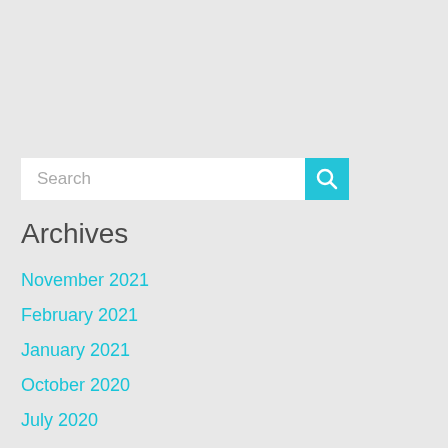[Figure (screenshot): Search input box with cyan/turquoise search button containing a magnifying glass icon]
Archives
November 2021
February 2021
January 2021
October 2020
July 2020
May 2020
April 2020
March 2020
January 2020